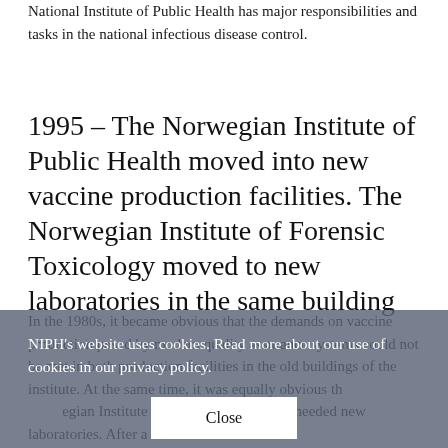National Institute of Public Health has major responsibilities and tasks in the national infectious disease control.
1995 – The Norwegian Institute of Public Health moved into new vaccine production facilities. The Norwegian Institute of Forensic Toxicology moved to new laboratories in the same building
In the 1980s, it became obvious that the demands on vaccine production posed by modern quality assurance systems could not be met in both production facilities in the old buildings of the institute. At the same time, it was equally obvious that the Norwegian Institute of Forensic Toxicology needed new laboratories. After a
NIPH's website uses cookies. Read more about our use of cookies in our privacy policy.
Close